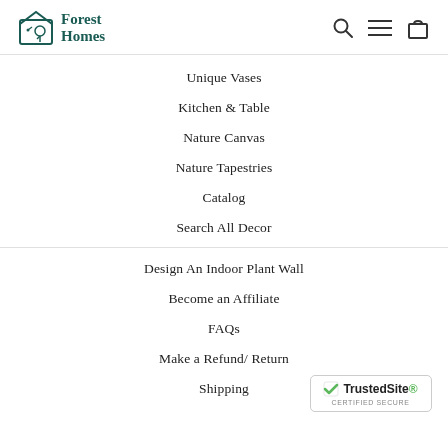Forest Homes
Unique Vases
Kitchen & Table
Nature Canvas
Nature Tapestries
Catalog
Search All Decor
Design An Indoor Plant Wall
Become an Affiliate
FAQs
Make a Refund/ Return
Shipping
[Figure (logo): TrustedSite Certified Secure badge]